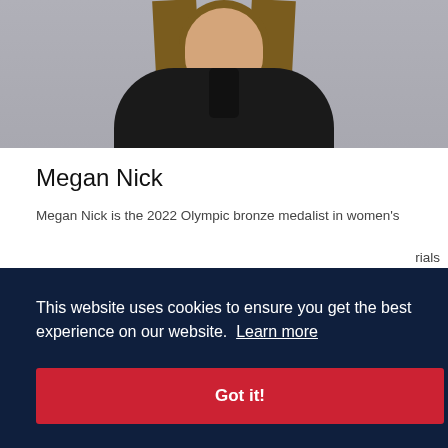[Figure (photo): Portrait photo of Megan Nick, a woman with long brown/blonde hair wearing a dark jacket, photographed from torso up against a light grey background]
Megan Nick
Megan Nick is the 2022 Olympic bronze medalist in women's ...rials ...elite ...school
This website uses cookies to ensure you get the best experience on our website. Learn more
Got it!